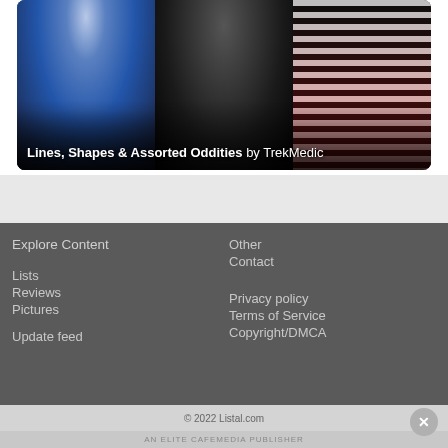[Figure (photo): Image card showing three fashion photos side by side: a woman in blue dress, a woman in black dress at an event, and a woman in black and white striped outfit at iHeart/KIIS event. Text overlay reads: 'Lines, Shapes & Assorted Oddities by TrekMedic']
Explore Content
Lists
Reviews
Pictures
Update feed
Other
Contact
Privacy policy
Terms of Service
Copyright/DMCA
© 2022 Listal.com
AN ELITE CAFEMEDIA PUBLISHER